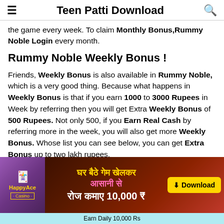Teen Patti Download
the game every week. To claim Monthly Bonus,Rummy Noble Login every month.
Rummy Noble Weekly Bonus !
Friends, Weekly Bonus is also available in Rummy Noble, which is a very good thing. Because what happens in Weekly Bonus is that if you earn 1000 to 3000 Rupees in Week by referring then you will get Extra Weekly Bonus of 500 Rupees. Not only 500, if you Earn Real Cash by referring more in the week, you will also get more Weekly Bonus. Whose list you can see below, you can get Extra Bonus up to two lakh rupees.
[Figure (screenshot): HappyAce Casino advertisement banner with Hindi text: घर बैठे गेम खेलकर आसानी से रोज कमाए 10,000 रु, and a Download button in yellow]
Earn Daily 10,000 Rs